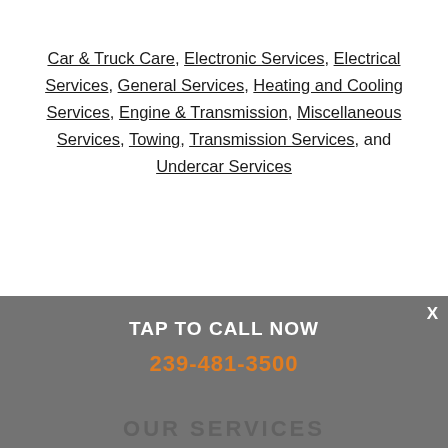Car & Truck Care, Electronic Services, Electrical Services, General Services, Heating and Cooling Services, Engine & Transmission, Miscellaneous Services, Towing, Transmission Services, and Undercar Services
X
TAP TO CALL NOW
239-481-3500
OUR SERVICES